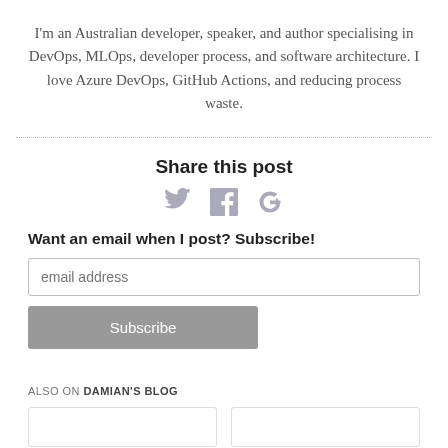I'm an Australian developer, speaker, and author specialising in DevOps, MLOps, developer process, and software architecture. I love Azure DevOps, GitHub Actions, and reducing process waste.
Share this post
[Figure (illustration): Three social media share icons: Twitter bird, Facebook f, Google+ g+ icon, displayed in light grey]
Want an email when I post? Subscribe!
email address
Subscribe
ALSO ON DAMIAN'S BLOG